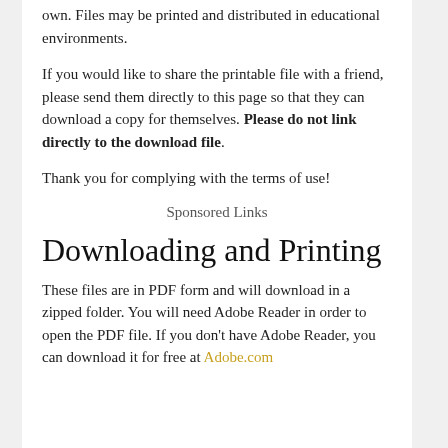own. Files may be printed and distributed in educational environments.
If you would like to share the printable file with a friend, please send them directly to this page so that they can download a copy for themselves. Please do not link directly to the download file.
Thank you for complying with the terms of use!
Sponsored Links
Downloading and Printing
These files are in PDF form and will download in a zipped folder. You will need Adobe Reader in order to open the PDF file. If you don't have Adobe Reader, you can download it for free at Adobe.com